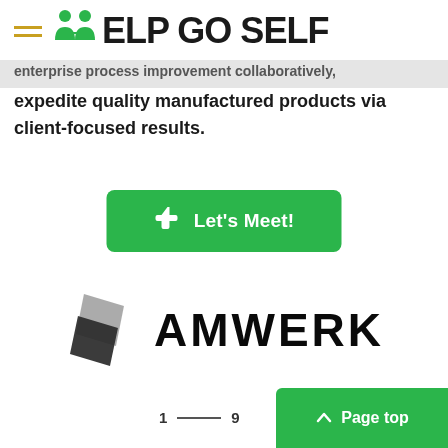HELP GO SELF
enterprise process improvement collaboratively, expedite quality manufactured products via client-focused results.
[Figure (other): Green button with thumbs-up icon labeled 'Let's Meet!']
[Figure (logo): AMWERK logo with geometric dark quadrilateral icon and bold black text 'AMWERK']
1 — 9